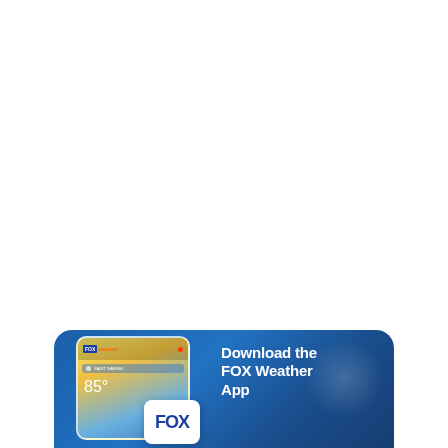[Figure (infographic): FOX Weather app advertisement banner. Blue gradient rounded rectangle background. Left side shows a smartphone screen displaying the FOX Weather app with a golden/blue gradient background showing '85°' temperature and a location bar. A white rounded square FOX logo box overlaps the phone. Right side has bold white text reading 'Download the FOX Weather App'.]